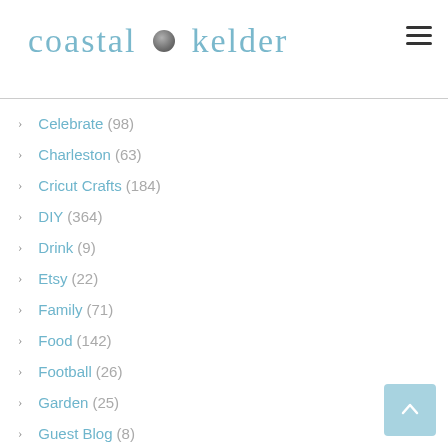[Figure (logo): Coastal Kelder blog logo with script text in light blue and a grey stone/pebble in the middle]
Celebrate (98)
Charleston (63)
Cricut Crafts (184)
DIY (364)
Drink (9)
Etsy (22)
Family (71)
Food (142)
Football (26)
Garden (25)
Guest Blog (8)
Holiday (124)